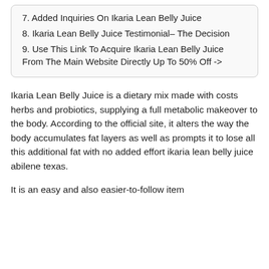7. Added Inquiries On Ikaria Lean Belly Juice
8. Ikaria Lean Belly Juice Testimonial– The Decision
9. Use This Link To Acquire Ikaria Lean Belly Juice From The Main Website Directly Up To 50% Off ->
Ikaria Lean Belly Juice is a dietary mix made with costs herbs and probiotics, supplying a full metabolic makeover to the body. According to the official site, it alters the way the body accumulates fat layers as well as prompts it to lose all this additional fat with no added effort ikaria lean belly juice abilene texas.
It is an easy and also easier-to-follow item